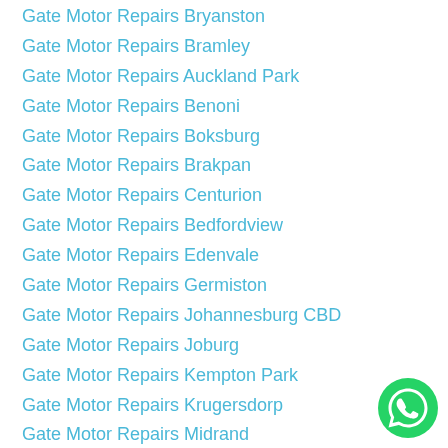Gate Motor Repairs Bryanston
Gate Motor Repairs Bramley
Gate Motor Repairs Auckland Park
Gate Motor Repairs Benoni
Gate Motor Repairs Boksburg
Gate Motor Repairs Brakpan
Gate Motor Repairs Centurion
Gate Motor Repairs Bedfordview
Gate Motor Repairs Edenvale
Gate Motor Repairs Germiston
Gate Motor Repairs Johannesburg CBD
Gate Motor Repairs Joburg
Gate Motor Repairs Kempton Park
Gate Motor Repairs Krugersdorp
Gate Motor Repairs Midrand
Gate Motor Repairs Pretoria
Gate Motor Repairs Roodepoort
Gate Motor Repairs Gauteng
Gate Motor Repairs East Rand
[Figure (logo): WhatsApp green circular button icon]